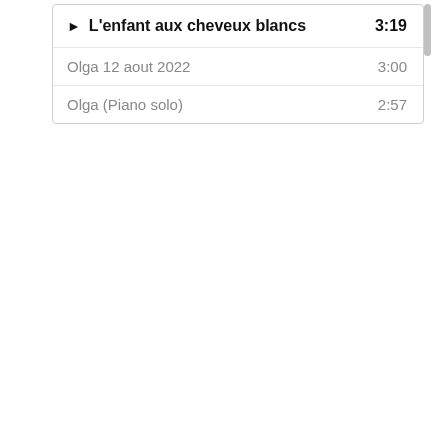▶ L'enfant aux cheveux blancs  3:19
Olga 12 aout 2022  3:00
Olga (Piano solo)  2:57